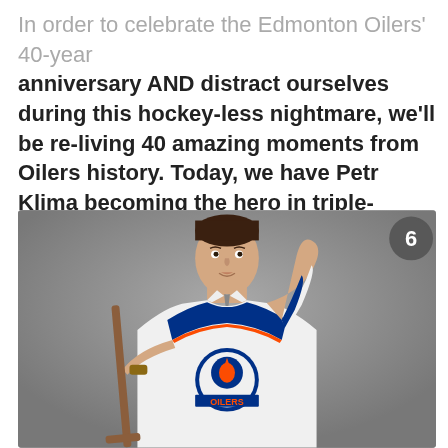In order to celebrate the Edmonton Oilers' 40-year anniversary AND distract ourselves during this hockey-less nightmare, we'll be re-living 40 amazing moments from Oilers history. Today, we have Petr Klima becoming the hero in triple-overtime in Game 1 of the 1990 Stanley Cup Final.
[Figure (photo): Young man wearing an Edmonton Oilers white jersey holding a hockey stick, pointing one finger up, with a number 6 badge in the top right corner of the image.]